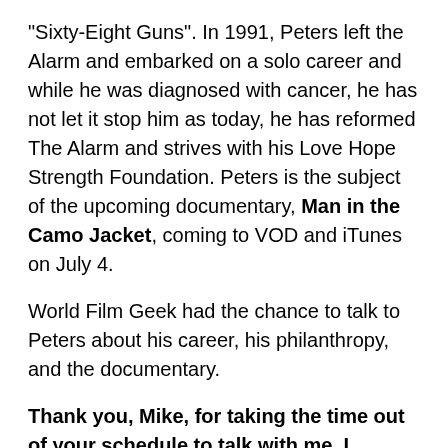“Sixty-Eight Guns”. In 1991, Peters left the Alarm and embarked on a solo career and while he was diagnosed with cancer, he has not let it stop him as today, he has reformed The Alarm and strives with his Love Hope Strength Foundation. Peters is the subject of the upcoming documentary, Man in the Camo Jacket, coming to VOD and iTunes on July 4.
World Film Geek had the chance to talk to Peters about his career, his philanthropy, and the documentary.
Thank you, Mike, for taking the time out of your schedule to talk with me. I understand you had just came back from a trip involving your Love Hope Strength Foundation. What was that like?